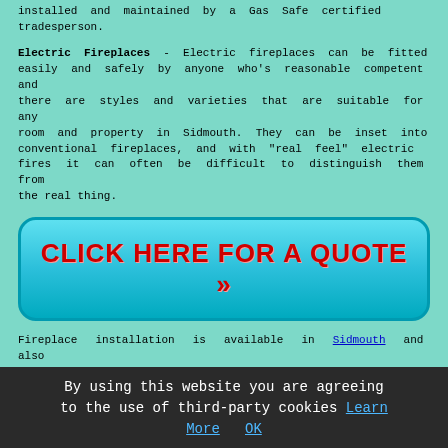installed and maintained by a Gas Safe certified tradesperson.
Electric Fireplaces - Electric fireplaces can be fitted easily and safely by anyone who's reasonable competent and there are styles and varieties that are suitable for any room and property in Sidmouth. They can be inset into conventional fireplaces, and with "real feel" electric fires it can often be difficult to distinguish them from the real thing.
[Figure (other): Call-to-action button: CLICK HERE FOR A QUOTE >> in red bold text on a cyan/teal rounded rectangle button]
Fireplace installation is available in Sidmouth and also nearby in: Colaton Raleigh, Woolbrook, Farway, Otterton, Whimple, Weston, Aylesbeare, Salcombe Regis, Bicton, Sidford, Pinn, Ottery St Mary, Stowford, Bowd, Branscombe, Seaton, Newton Poppleford, and in these postcodes EX10 8LS, EX10 8PL, EX10 8HH, EX10 8LP, EX10 1SY, EX10 8JD, EX10 8EH, EX10 8JT, EX10 8AT, EX10 8AZ. Locally based Sidmouth fireplace specialists will most likely have the telephone code 01395 and the postcode EX10. Verifying this should
By using this website you are agreeing to the use of third-party cookies Learn More OK